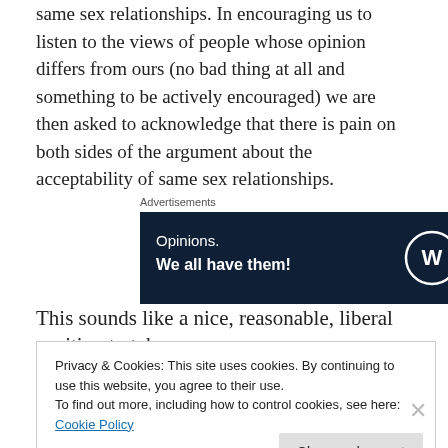same sex relationships. In encouraging us to listen to the views of people whose opinion differs from ours (no bad thing at all and something to be actively encouraged) we are then asked to acknowledge that there is pain on both sides of the argument about the acceptability of same sex relationships.
[Figure (other): Advertisement banner: dark navy background with text 'Opinions. We all have them!' and WordPress and Fresh News logos on the right.]
This sounds like a nice, reasonable, liberal position to take
Privacy & Cookies: This site uses cookies. By continuing to use this website, you agree to their use.
To find out more, including how to control cookies, see here: Cookie Policy